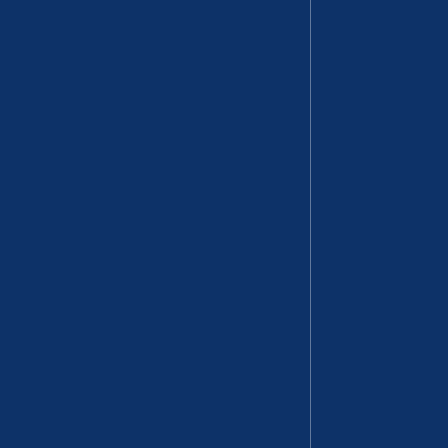it will (IMHO) be like Brexit
No, it